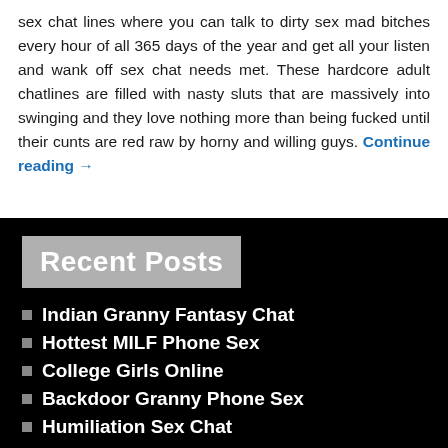sex chat lines where you can talk to dirty sex mad bitches every hour of all 365 days of the year and get all your listen and wank off sex chat needs met. These hardcore adult chatlines are filled with nasty sluts that are massively into swinging and they love nothing more than being fucked until their cunts are red raw by horny and willing guys. Continue reading →
Recent Posts
Indian Granny Fantasy Chat
Hottest MILF Phone Sex
College Girls Online
Backdoor Granny Phone Sex
Humiliation Sex Chat